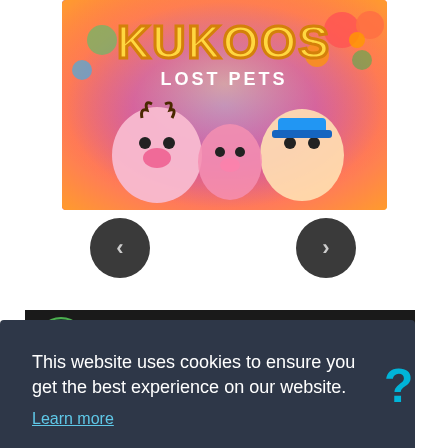[Figure (screenshot): Kukoos Lost Pets game promotional image with colorful cartoon characters on a purple/pink gradient background with the game title in orange/yellow text]
[Figure (screenshot): Left navigation arrow button (dark circular button with left chevron)]
[Figure (screenshot): Right navigation arrow button (dark circular button with right chevron)]
[Figure (screenshot): Video bar with green circular channel icon showing SGG logo, and truncated title 'New Steam Account, How it wor']
This website uses cookies to ensure you get the best experience on our website.
Learn more
Decline
Allow cookies